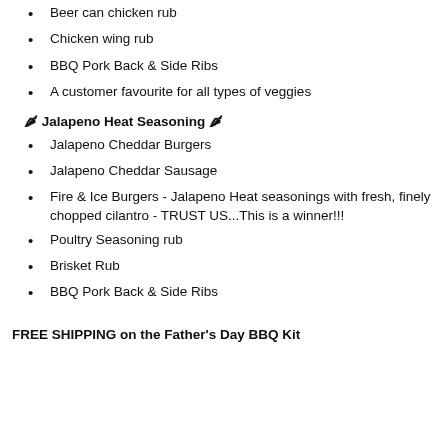Beer can chicken rub
Chicken wing rub
BBQ Pork Back & Side Ribs
A customer favourite for all types of veggies
🌶 Jalapeno Heat Seasoning 🌶
Jalapeno Cheddar Burgers
Jalapeno Cheddar Sausage
Fire & Ice Burgers - Jalapeno Heat seasonings with fresh, finely chopped cilantro - TRUST US...This is a winner!!!
Poultry Seasoning rub
Brisket Rub
BBQ Pork Back & Side Ribs
FREE SHIPPING on the Father's Day BBQ Kit